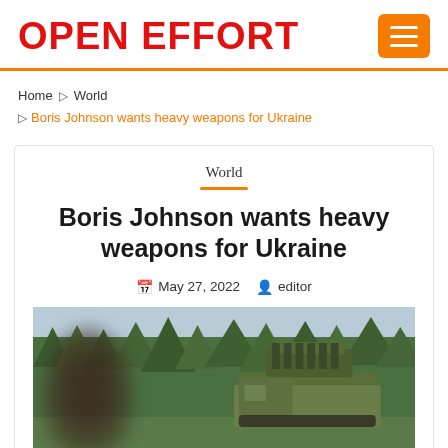OPEN EFFORT
Home ▷ World ▷ Boris Johnson wants heavy weapons for Ukraine
World
Boris Johnson wants heavy weapons for Ukraine
May 27, 2022  editor
[Figure (photo): Outdoor photo showing military rocket launcher vehicle (MLRS/HIMARS type) in camouflage paint among pine trees, with blurred human figure silhouette in foreground left]